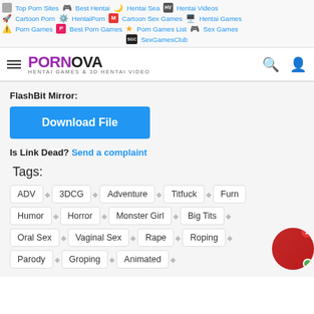Top Porn Sites | Best Hentai | Hentai Sea | Hentai Videos | Cartoon Porn | HentaiPorn | Cartoon Sex Games | Hentai Games | Porn Games | Best Porn Games | Porn Games List | Sex Games | SexGamesClub
[Figure (logo): PORNOVA site logo with hamburger menu, search and user icons]
FlashBit Mirror:
[Figure (other): Download File button (blue)]
Is Link Dead? Send a complaint
Tags:
ADV
3DCG
Adventure
Titfuck
Furn
Humor
Horror
Monster Girl
Big Tits
Oral Sex
Vaginal Sex
Rape
Roping
Parody
Groping
Animated